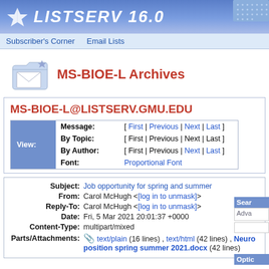LISTSERV 16.0
Subscriber's Corner   Email Lists
MS-BIOE-L Archives
MS-BIOE-L@LISTSERV.GMU.EDU
| View: | Navigation |
| --- | --- |
| Message: | [ First | Previous | Next | Last ] |
| By Topic: | [ First | Previous | Next | Last ] |
| By Author: | [ First | Previous | Next | Last ] |
| Font: | Proportional Font |
| Field | Value |
| --- | --- |
| Subject: | Job opportunity for spring and summer |
| From: | Carol McHugh <[log in to unmask]> |
| Reply-To: | Carol McHugh <[log in to unmask]> |
| Date: | Fri, 5 Mar 2021 20:01:37 +0000 |
| Content-Type: | multipart/mixed |
| Parts/Attachments: | text/plain (16 lines) , text/html (42 lines) , Neuro position spring summer 2021.docx (42 lines) |